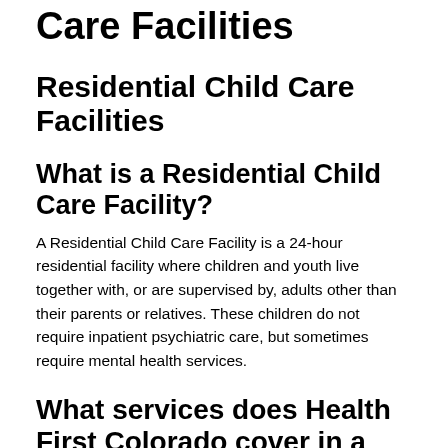Care Facilities
Residential Child Care Facilities
What is a Residential Child Care Facility?
A Residential Child Care Facility is a 24-hour residential facility where children and youth live together with, or are supervised by, adults other than their parents or relatives. These children do not require inpatient psychiatric care, but sometimes require mental health services.
What services does Health First Colorado cover in a Residential Child Care